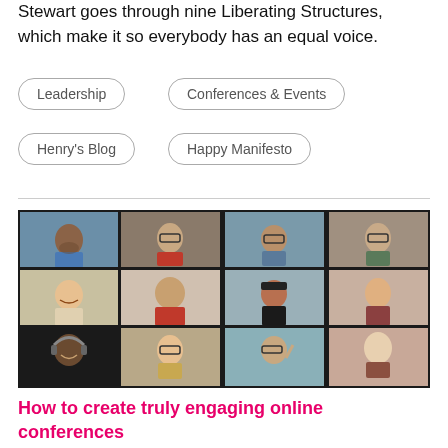Stewart goes through nine Liberating Structures, which make it so everybody has an equal voice.
Leadership
Conferences & Events
Henry's Blog
Happy Manifesto
[Figure (photo): A 4x3 grid video call screenshot showing 12 participants in an online conference, with people in various home office settings.]
How to create truly engaging online conferences